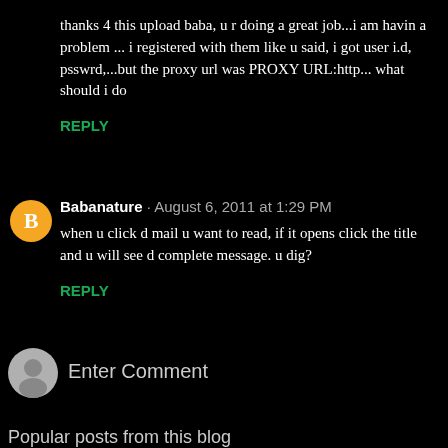thanks 4 this upload baba, u r doing a great job...i am havin a problem ... i registered with them like u said, i got user i.d, psswrd,...but the proxy url was PROXY URL:http... what should i do
REPLY
Babanature · August 6, 2011 at 1:29 PM
when u click d mail u want to read, if it opens click the title and u will see d complete message. u dig?
REPLY
Enter Comment
Popular posts from this blog